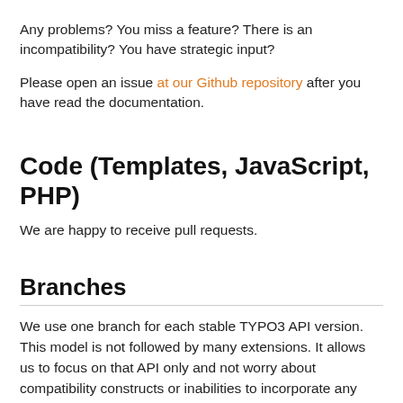Any problems? You miss a feature? There is an incompatibility? You have strategic input?
Please open an issue at our Github repository after you have read the documentation.
Code (Templates, JavaScript, PHP)
We are happy to receive pull requests.
Branches
We use one branch for each stable TYPO3 API version. This model is not followed by many extensions. It allows us to focus on that API only and not worry about compatibility constructs or inabilities to incorporate any new TYPO3